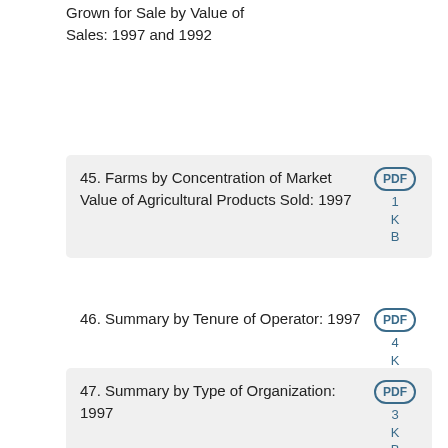Grown for Sale by Value of Sales: 1997 and 1992
45. Farms by Concentration of Market Value of Agricultural Products Sold: 1997
46. Summary by Tenure of Operator: 1997
47. Summary by Type of Organization: 1997